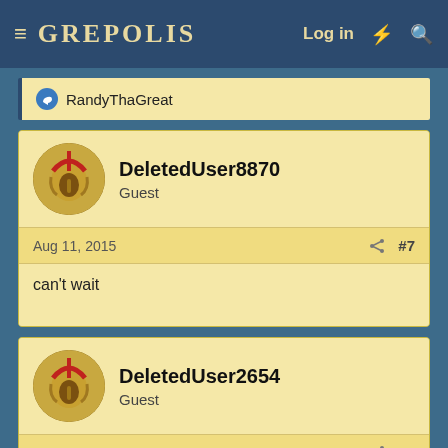GREPOLIS — Log in
RandyThaGreat
DeletedUser8870
Guest
Aug 11, 2015  #7
can't wait
DeletedUser2654
Guest
Aug 11, 2015  #8
Really want to see this
DeletedUser10048